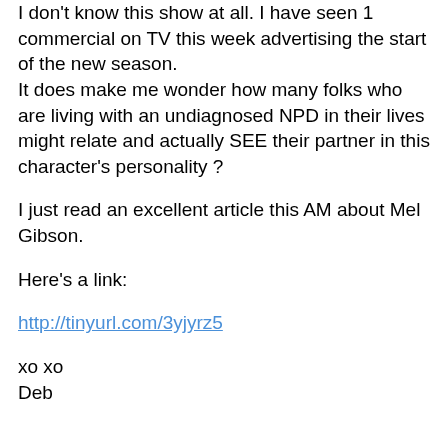I don't know this show at all. I have seen 1 commercial on TV this week advertising the start of the new season.
It does make me wonder how many folks who are living with an undiagnosed NPD in their lives might relate and actually SEE their partner in this character's personality ?
I just read an excellent article this AM about Mel Gibson.
Here's a link:
http://tinyurl.com/3yjyrz5
xo xo
Deb